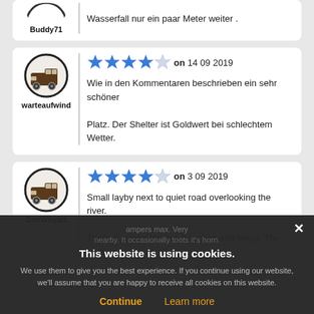Buddy71
Wasserfall nur ein paar Meter weiter .
warteaufwind
4 stars on 14 09 2019
Wie in den Kommentaren beschrieben ein sehr schöner Platz. Der Shelter ist Goldwert bei schlechtem Wetter.
DanWhyatt
4 stars on 3 09 2019
Small layby next to quiet road overlooking the river. There is a wooden hut, benches and firepit. The parking
ampers max. Very nearby. It occasionally toots it's horn.
This website is using cookies. We use them to give you the best experience. If you continue using our website, we'll assume that you are happy to receive all cookies on this website. Continue Learn more